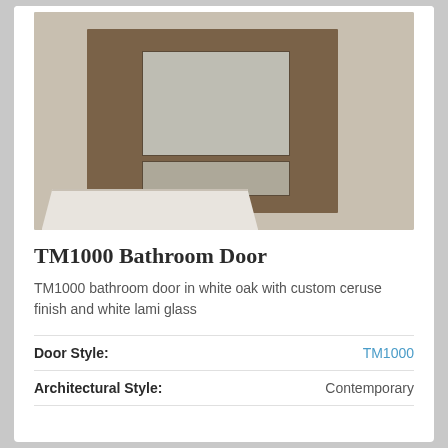[Figure (photo): Bathroom interior showing a glass-enclosed shower with marble/tile walls and a wooden bathroom door with frosted glass panels (TM1000 style) in white oak with ceruse finish]
TM1000 Bathroom Door
TM1000 bathroom door in white oak with custom ceruse finish and white lami glass
| Door Style: | TM1000 |
| --- | --- |
| Architectural Style: | Contemporary |